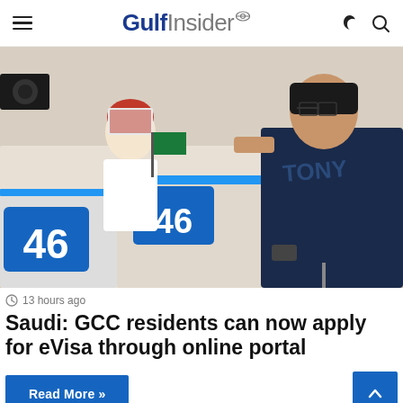Gulf Insider
[Figure (photo): A man in a navy blue t-shirt handing documents at an immigration/customs counter numbered 46, with a Saudi official in traditional dress seated behind the counter. A Saudi flag is visible on the counter.]
13 hours ago
Saudi: GCC residents can now apply for eVisa through online portal
Read More »